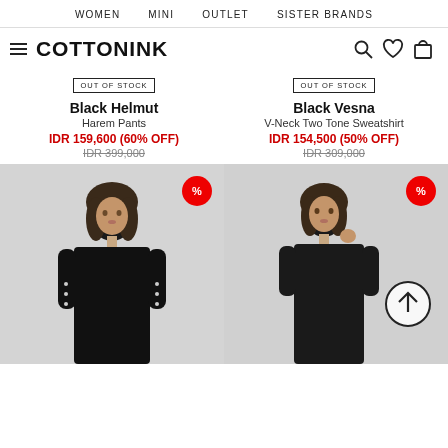WOMEN   MINI   OUTLET   SISTER BRANDS
COTTONINK
OUT OF STOCK
Black Helmut
Harem Pants
IDR 159,600 (60% OFF)
IDR 399,000
OUT OF STOCK
Black Vesna
V-Neck Two Tone Sweatshirt
IDR 154,500 (50% OFF)
IDR 309,000
[Figure (photo): Woman wearing a black dress with stud details, discount badge with % symbol]
[Figure (photo): Woman wearing a black dress, discount badge with % symbol, scroll-up arrow circle button]